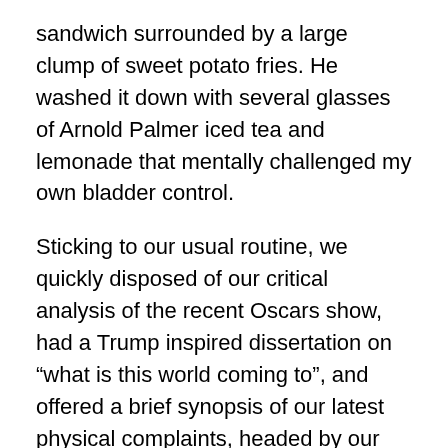sandwich surrounded by a large clump of sweet potato fries. He washed it down with several glasses of Arnold Palmer iced tea and lemonade that mentally challenged my own bladder control.
Sticking to our usual routine, we quickly disposed of our critical analysis of the recent Oscars show, had a Trump inspired dissertation on “what is this world coming to”, and offered a brief synopsis of our latest physical complaints, headed by our growing inability to remember just about anything.
The conversation moved on to wives, or in my case, about-to-be wives. Men are somewhat limited in this subject. For example, I have often told Jackie that men never talk about having sex with their wives, or anyone else for that matter. Women, I am told, can spend an